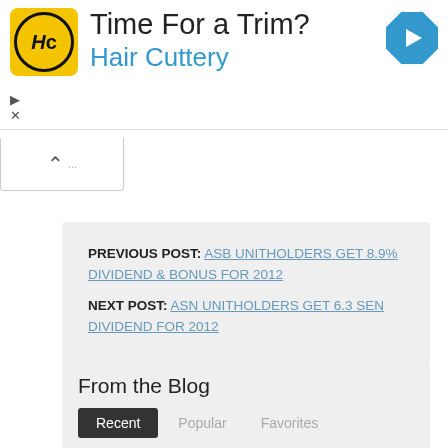[Figure (other): Hair Cuttery advertisement banner with yellow logo showing HC initials in a circle, title 'Time For a Trim?' and subtitle 'Hair Cuttery', blue navigation diamond icon in top right, play and close controls on left]
PREVIOUS POST: ASB UNITHOLDERS GET 8.9% DIVIDEND & BONUS FOR 2012
NEXT POST: ASN UNITHOLDERS GET 6.3 SEN DIVIDEND FOR 2012
From the Blog
Recent  Popular  Favorites
ASB Unitholders Get Up to 7.00 sen Dividend & Bonus for